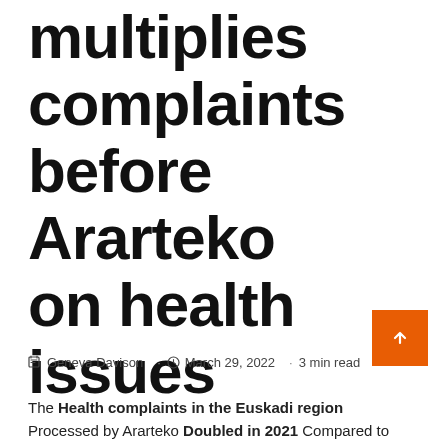multiplies complaints before Ararteko on health issues
Geneva Davison · March 29, 2022 · 3 min read
The Health complaints in the Euskadi region Processed by Ararteko Doubled in 2021 Compared to